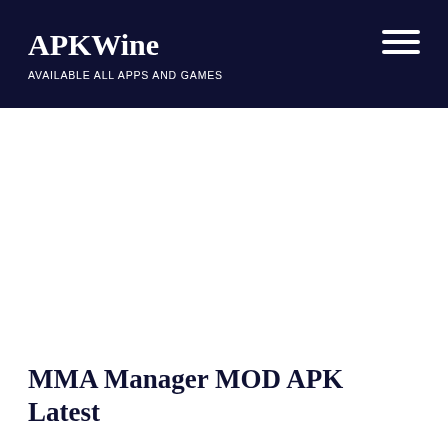APKWine
AVAILABLE ALL APPS AND GAMES
MMA Manager MOD APK Latest